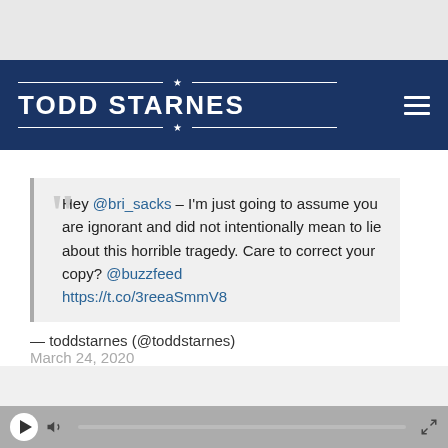TODD STARNES
Hey @bri_sacks – I'm just going to assume you are ignorant and did not intentionally mean to lie about this horrible tragedy. Care to correct your copy? @buzzfeed https://t.co/3reeaSmmV8
— toddstarnes (@toddstarnes)
March 24, 2020